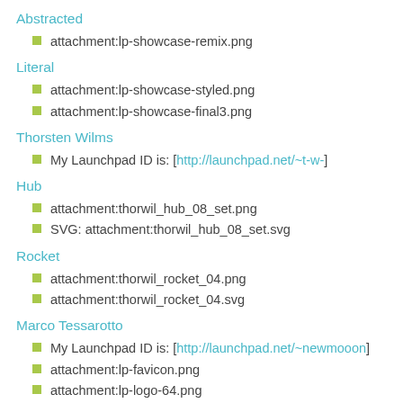Abstracted
attachment:lp-showcase-remix.png
Literal
attachment:lp-showcase-styled.png
attachment:lp-showcase-final3.png
Thorsten Wilms
My Launchpad ID is: [http://launchpad.net/~t-w-]
Hub
attachment:thorwil_hub_08_set.png
SVG: attachment:thorwil_hub_08_set.svg
Rocket
attachment:thorwil_rocket_04.png
attachment:thorwil_rocket_04.svg
Marco Tessarotto
My Launchpad ID is: [http://launchpad.net/~newmooon]
attachment:lp-favicon.png
attachment:lp-logo-64.png